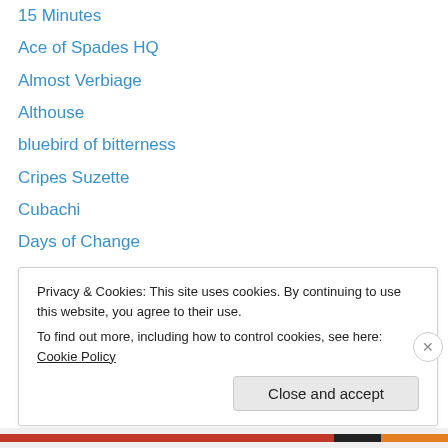15 Minutes
Ace of Spades HQ
Almost Verbiage
Althouse
bluebird of bitterness
Cripes Suzette
Cubachi
Days of Change
DC Trawler (Jim Treacher)
Far Right Democrat
Frugal Cafe Blogzone
Gadling's Galley Gossip
Gardening Asylum
Privacy & Cookies: This site uses cookies. By continuing to use this website, you agree to their use. To find out more, including how to control cookies, see here: Cookie Policy